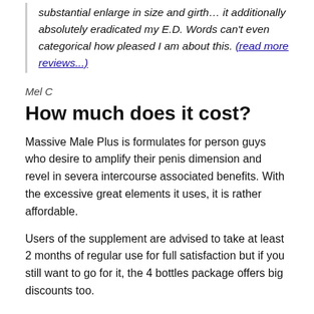substantial enlarge in size and girth… it additionally absolutely eradicated my E.D. Words can't even categorical how pleased I am about this. (read more reviews...)
Mel C
How much does it cost?
Massive Male Plus is formulates for person guys who desire to amplify their penis dimension and revel in severa intercourse associated benefits. With the excessive great elements it uses, it is rather affordable.
Users of the supplement are advised to take at least 2 months of regular use for full satisfaction but if you still want to go for it, the 4 bottles package offers big discounts too.